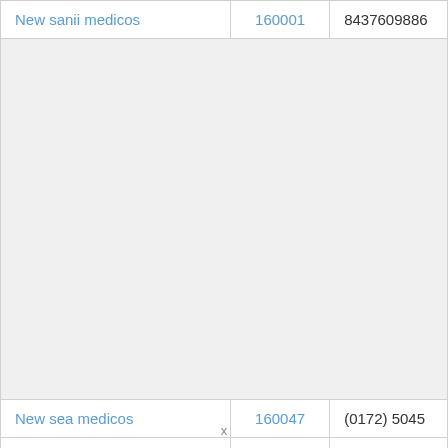| Name | Code | Phone |
| --- | --- | --- |
| New sanii medicos | 160001 | 8437609886... |
|  |  |  |
| New sea medicos | 160047 | (0172) 5045... |
| Newton Medical Devices | 160055 | (0172) 5094... |
|  |  |  |
x